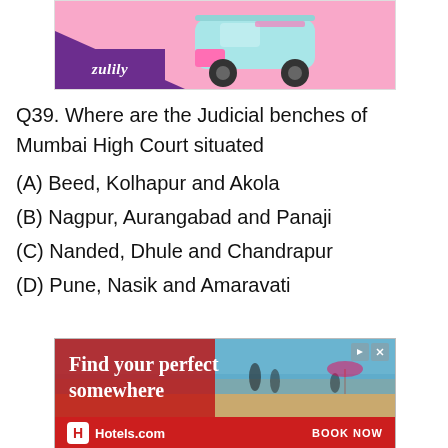[Figure (photo): Zulily advertisement banner showing a light blue and pink toy jeep car on a pink background, with Zulily logo in purple at bottom left]
Q39. Where are the Judicial benches of Mumbai High Court situated
(A) Beed, Kolhapur and Akola
(B) Nagpur, Aurangabad and Panaji
(C) Nanded, Dhule and Chandrapur
(D) Pune, Nasik and Amaravati
[Figure (photo): Hotels.com advertisement showing 'Find your perfect somewhere' text over a beach vacation photo with family, Hotels.com logo and BOOK NOW button at bottom]